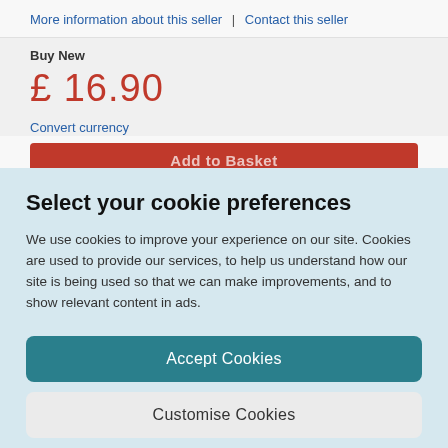More information about this seller | Contact this seller
Buy New
£ 16.90
Convert currency
Select your cookie preferences
We use cookies to improve your experience on our site. Cookies are used to provide our services, to help us understand how our site is being used so that we can make improvements, and to show relevant content in ads.
Accept Cookies
Customise Cookies